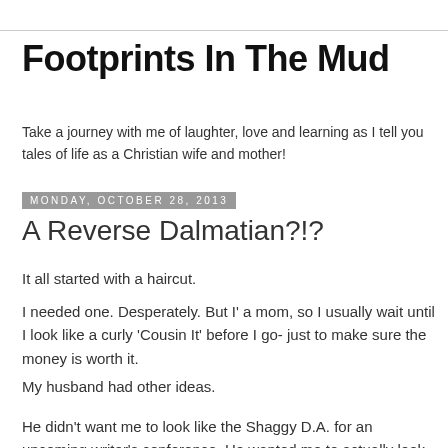Footprints In The Mud
Take a journey with me of laughter, love and learning as I tell you tales of life as a Christian wife and mother!
Monday, October 28, 2013
A Reverse Dalmatian?!?
It all started with a haircut.
I needed one. Desperately. But I' a mom, so I usually wait until I look like a curly 'Cousin It' before I go- just to make sure the money is worth it.
My husband had other ideas.
He didn't want me to look like the Shaggy D.A. for an upcoming writer's conference. He wanted me to actually look nice. So he made me an appointment at a new salon instead